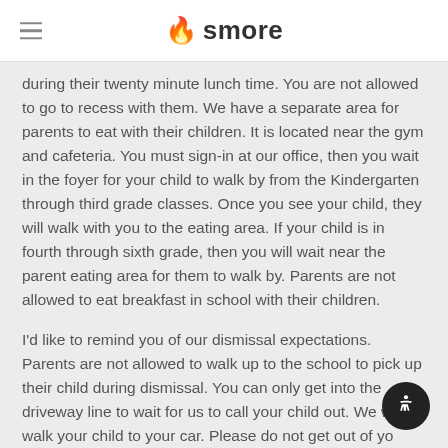smore
during their twenty minute lunch time. You are not allowed to go to recess with them. We have a separate area for parents to eat with their children. It is located near the gym and cafeteria. You must sign-in at our office, then you wait in the foyer for your child to walk by from the Kindergarten through third grade classes. Once you see your child, they will walk with you to the eating area. If your child is in fourth through sixth grade, then you will wait near the parent eating area for them to walk by. Parents are not allowed to eat breakfast in school with their children.
I'd like to remind you of our dismissal expectations. Parents are not allowed to walk up to the school to pick up their child during dismissal. You can only get into the driveway line to wait for us to call your child out. We w walk your child to your car. Please do not get out of yo